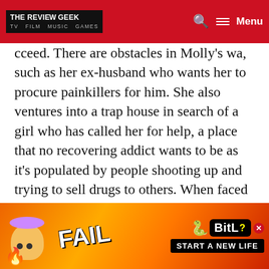THE REVIEW GEEK | TV FILM MUSIC GAMES
cceed. There are obstacles in Molly's wa, such as her ex-husband who wants her to procure painkillers for him. She also ventures into a trap house in search of a girl who has called her for help, a place that no recovering addict wants to be as it's populated by people shooting up and trying to sell drugs to others. When faced with such situations, Molly's attempts to stay clean are compromised, but as to whether or not she overcomes them or not, you will have to see the movie for yourself or read our Ending Explained article.
I wish the movie was a better one but as it manages to humanise Molly and people like her, it can still be commended. Many people vilify drug addicts without knowing anything about their backgrounds and perso... movies like E...
[Figure (screenshot): BitLife advertisement banner with FAIL text, cartoon character, flames, and 'START A NEW LIFE' tagline]